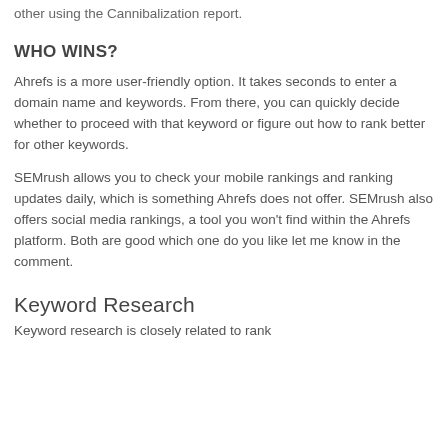other using the Cannibalization report.
WHO WINS?
Ahrefs is a more user-friendly option. It takes seconds to enter a domain name and keywords. From there, you can quickly decide whether to proceed with that keyword or figure out how to rank better for other keywords.
SEMrush allows you to check your mobile rankings and ranking updates daily, which is something Ahrefs does not offer. SEMrush also offers social media rankings, a tool you won't find within the Ahrefs platform. Both are good which one do you like let me know in the comment.
Keyword Research
Keyword research is closely related to rank